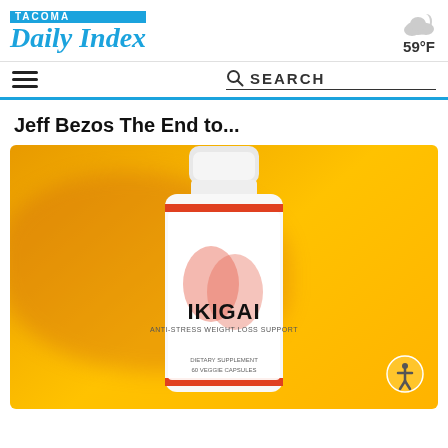TACOMA Daily Index — 59°F
Jeff Bezos The End to...
[Figure (photo): Product photo of IKIGAI Anti-Stress Weight Loss Support dietary supplement bottle (60 veggie capsules) on a yellow/orange background with orange blob accent.]